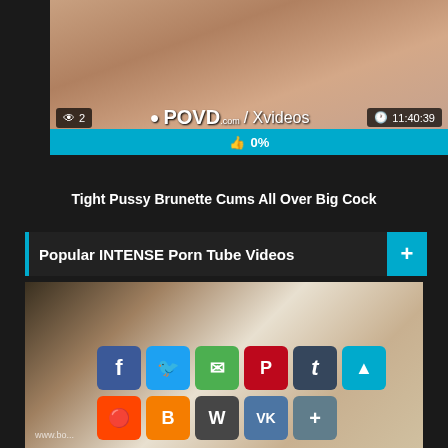[Figure (screenshot): Video thumbnail with views badge showing '2', POVD.com / Xvideos branding, duration 11:40:39, and 0% like bar]
Tight Pussy Brunette Cums All Over Big Cock
Popular INTENSE Porn Tube Videos
[Figure (screenshot): Video thumbnail of adult content with social sharing buttons overlay: Facebook, Twitter, Email, Pinterest, Tumblr, Up arrow, Reddit, Blogger, WordPress, VK, More]
www.bo...